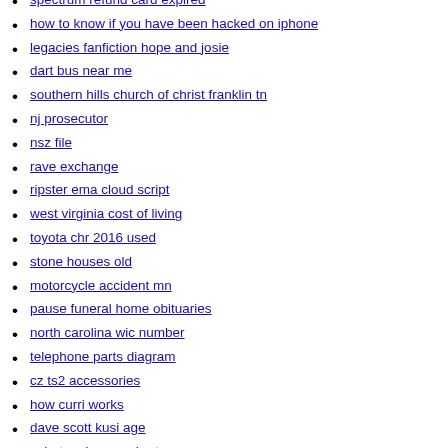how to know if you have been hacked on iphone
legacies fanfiction hope and josie
dart bus near me
southern hills church of christ franklin tn
nj prosecutor
nsz file
rave exchange
ripster ema cloud script
west virginia cost of living
toyota chr 2016 used
stone houses old
motorcycle accident mn
pause funeral home obituaries
north carolina wic number
telephone parts diagram
cz ts2 accessories
how curri works
dave scott kusi age
subutex dosage chart
how to avoid social media
how long does it take for someone to forget something embarrassing
cheap mountain land for sale in nc
fire extinguisher osha 1926
medtronic pump user guide